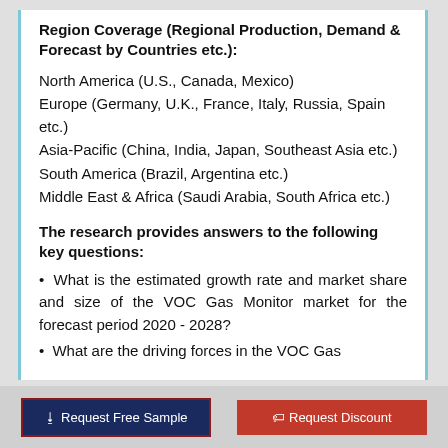Region Coverage (Regional Production, Demand & Forecast by Countries etc.):
North America (U.S., Canada, Mexico)
Europe (Germany, U.K., France, Italy, Russia, Spain etc.)
Asia-Pacific (China, India, Japan, Southeast Asia etc.)
South America (Brazil, Argentina etc.)
Middle East & Africa (Saudi Arabia, South Africa etc.)
The research provides answers to the following key questions:
• What is the estimated growth rate and market share and size of the VOC Gas Monitor market for the forecast period 2020 - 2028?
• What are the driving forces in the VOC Gas...
Request Free Sample   Request Discount